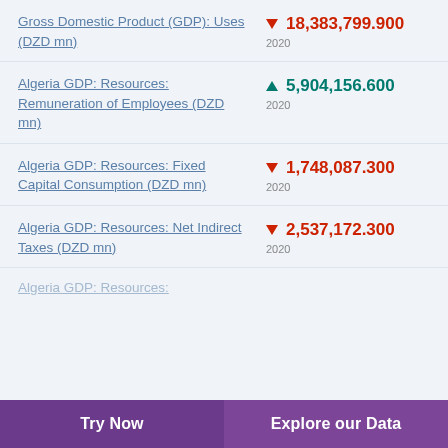Gross Domestic Product (GDP): Uses (DZD mn)
Algeria GDP: Resources: Remuneration of Employees (DZD mn)
Algeria GDP: Resources: Fixed Capital Consumption (DZD mn)
Algeria GDP: Resources: Net Indirect Taxes (DZD mn)
Algeria GDP: Resources:
Try Now  |  Explore our Data